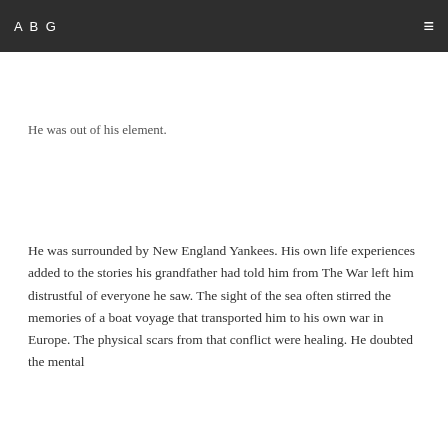ABG
He was out of his element.
He was surrounded by New England Yankees. His own life experiences added to the stories his grandfather had told him from The War left him distrustful of everyone he saw. The sight of the sea often stirred the memories of a boat voyage that transported him to his own war in Europe. The physical scars from that conflict were healing. He doubted the mental